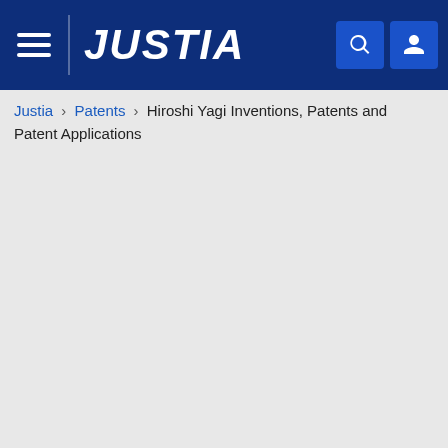JUSTIA
Justia › Patents › Hiroshi Yagi Inventions, Patents and Patent Applications